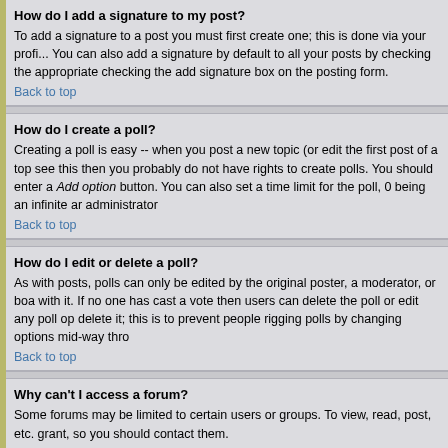How do I add a signature to my post?
To add a signature to a post you must first create one; this is done via your profile. You can also add a signature by default to all your posts by checking the appropriate box. You can also add a signature by checking the add signature box on the posting form.
Back to top
How do I create a poll?
Creating a poll is easy -- when you post a new topic (or edit the first post of a topic) you will see this then you probably do not have rights to create polls. You should enter a question and then fill in each answer using the Add option button. You can also set a time limit for the poll, 0 being an infinite amount. There will be a limit set by the board administrator
Back to top
How do I edit or delete a poll?
As with posts, polls can only be edited by the original poster, a moderator, or board administrator. If no one has cast a vote then users can delete the poll or edit any poll option. However, if people have already placed votes, only moderators or administrators can edit or delete it; this is to prevent people rigging polls by changing options mid-way thro
Back to top
Why can't I access a forum?
Some forums may be limited to certain users or groups. To view, read, post, etc. you need special permissions that only the forum moderator and board administrator can grant, so you should contact them.
Back to top
Why can't I vote in polls?